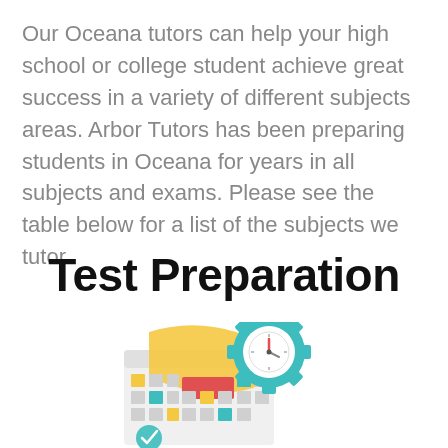Our Oceana tutors can help your high school or college student achieve great success in a variety of different subjects areas. Arbor Tutors has been preparing students in Oceana for years in all subjects and exams. Please see the table below for a list of the subjects we tutor.
Test Preparation
[Figure (illustration): Flat style illustration of a calendar with a gear/clock icon overlapping it, featuring orange, teal, red and grey colored elements, representing test preparation scheduling.]